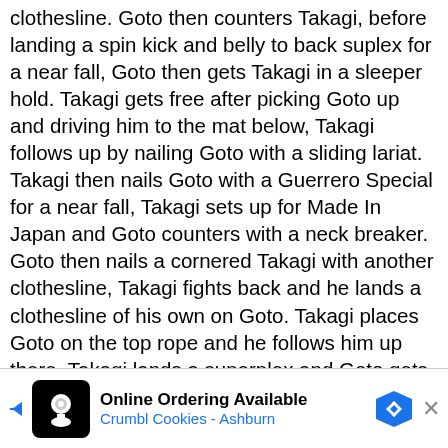clothesline. Goto then counters Takagi, before landing a spin kick and belly to back suplex for a near fall, Goto then gets Takagi in a sleeper hold. Takagi gets free after picking Goto up and driving him to the mat below, Takagi follows up by nailing Goto with a sliding lariat. Takagi then nails Goto with a Guerrero Special for a near fall, Takagi sets up for Made In Japan and Goto counters with a neck breaker. Goto then nails a cornered Takagi with another clothesline, Takagi fights back and he lands a clothesline of his own on Goto. Takagi places Goto on the top rope and he follows him up there, Takagi lands a superplex and Goto gets back up immediately. Takagi and Goto exchange more suplexes until both stay down, Takagi and Goto have another striking exchange in the middle of the ring. Goto eventually drops Takagi with a lariat to end the exchange, Goto follows up with another lariat for a near fall. Takagi nails Goto with Made In Japan from out of
nowhere
Pumping
[Figure (other): Advertisement banner for Crumbl Cookies - Ashburn: Online Ordering Available]